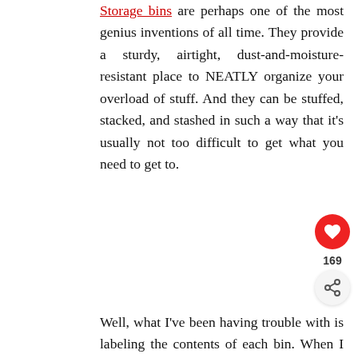Storage bins are perhaps one of the most genius inventions of all time. They provide a sturdy, airtight, dust-and-moisture-resistant place to NEATLY organize your overload of stuff. And they can be stuffed, stacked, and stashed in such a way that it's usually not too difficult to get what you need to get to.
Well, what I've been having trouble with is labeling the contents of each bin. When I was kid, my mom would label her bins by simply sticking a blank label to it then scribbling the contents onto that label. What I don't like about this method is that the label is pretty stuck to the bin, which is a pain when you need to remove it. You could just keep sticking new labels on it, but do that for too long and it gets bulky–and looks sloppy. Plus, what if you remove or add